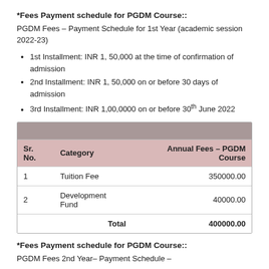*Fees Payment schedule for PGDM Course::
PGDM Fees – Payment Schedule for 1st Year (academic session 2022-23)
1st Installment: INR 1, 50,000 at the time of confirmation of admission
2nd Installment: INR 1, 50,000 on or before 30 days of admission
3rd Installment: INR 1,00,0000 on or before 30th June 2022
| Sr. No. | Category | Annual Fees – PGDM Course |
| --- | --- | --- |
| 1 | Tuition Fee | 350000.00 |
| 2 | Development Fund | 40000.00 |
|  | Total | 400000.00 |
*Fees Payment schedule for PGDM Course::
PGDM Fees 2nd Year– Payment Schedule –